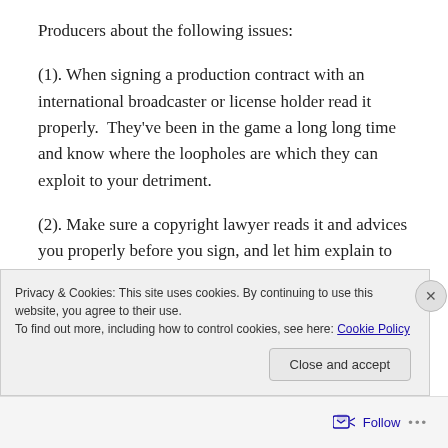Producers about the following issues:
(1). When signing a production contract with an international broadcaster or license holder read it properly.  They’ve been in the game a long long time and know where the loopholes are which they can exploit to your detriment.
(2). Make sure a copyright lawyer reads it and advices you properly before you sign, and let him explain to you implications of the contract.  Play out a few scenarios before you sign.
Privacy & Cookies: This site uses cookies. By continuing to use this website, you agree to their use.
To find out more, including how to control cookies, see here: Cookie Policy
Close and accept
Follow ...